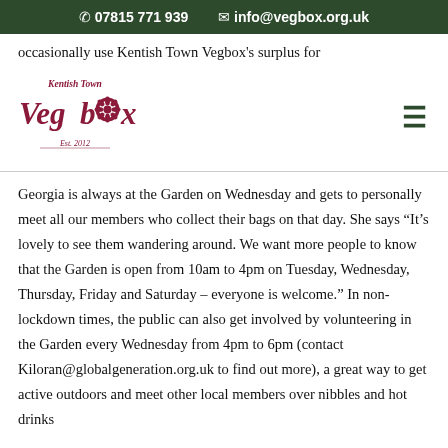07815 771 939  info@vegbox.org.uk
occasionally use Kentish Town Vegbox's surplus for
[Figure (logo): Kentish Town Vegbox logo with veg illustration and 'Est. 2012' text]
Georgia is always at the Garden on Wednesday and gets to personally meet all our members who collect their bags on that day. She says “It’s lovely to see them wandering around. We want more people to know that the Garden is open from 10am to 4pm on Tuesday, Wednesday, Thursday, Friday and Saturday – everyone is welcome.” In non-lockdown times, the public can also get involved by volunteering in the Garden every Wednesday from 4pm to 6pm (contact Kiloran@globalgeneration.org.uk to find out more), a great way to get active outdoors and meet other local members over nibbles and hot drinks